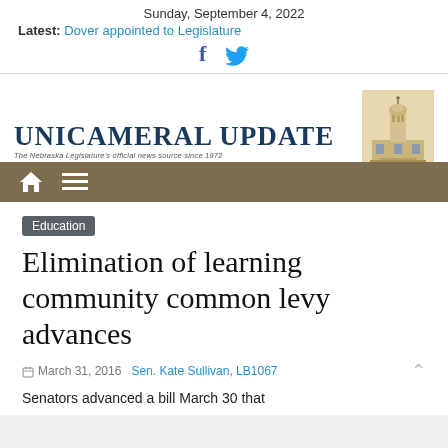Sunday, September 4, 2022
Latest: Dover appointed to Legislature
[Figure (logo): Social media icons: Facebook (f) and Twitter bird]
[Figure (logo): Unicameral Update logo with Nebraska State Capitol building illustration. Text: UNICAMERAL UPDATE. Subtitle: The Nebraska Legislature's official news source since 1972]
[Figure (other): Navigation bar with home icon and hamburger menu icon on brown background]
Education
Elimination of learning community common levy advances
March 31, 2016  Sen. Kate Sullivan, LB1067
Senators advanced a bill March 30 that